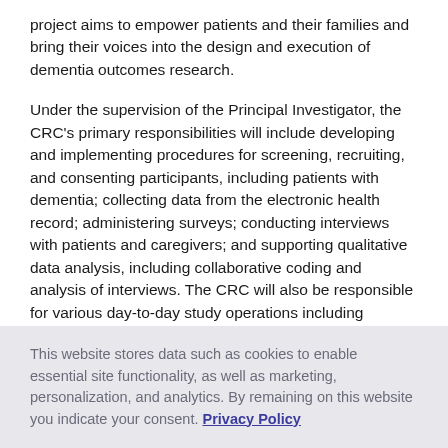project aims to empower patients and their families and bring their voices into the design and execution of dementia outcomes research.
Under the supervision of the Principal Investigator, the CRC's primary responsibilities will include developing and implementing procedures for screening, recruiting, and consenting participants, including patients with dementia; collecting data from the electronic health record; administering surveys; conducting interviews with patients and caregivers; and supporting qualitative data analysis, including collaborative coding and analysis of interviews. The CRC will also be responsible for various day-to-day study operations including maintaining study databases, compliance with all IRB and regulatory documentation, and
This website stores data such as cookies to enable essential site functionality, as well as marketing, personalization, and analytics. By remaining on this website you indicate your consent. Privacy Policy